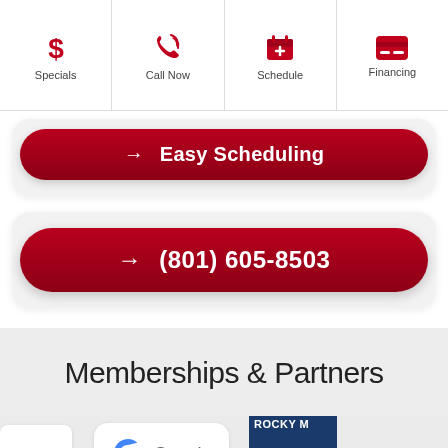Specials | Call Now | Schedule | Financing
→ Easy Scheduling
→ (801) 605-8503
Memberships & Partners
[Figure (logo): Partner logos row: ENSED (licensed badge), Google, Rocky Mountain logo (partially visible)]